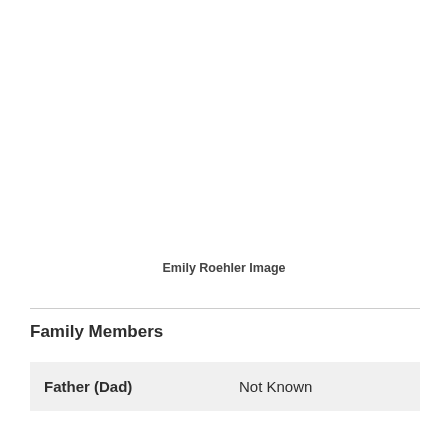Emily Roehler Image
Family Members
|  |  |
| --- | --- |
| Father (Dad) | Not Known |